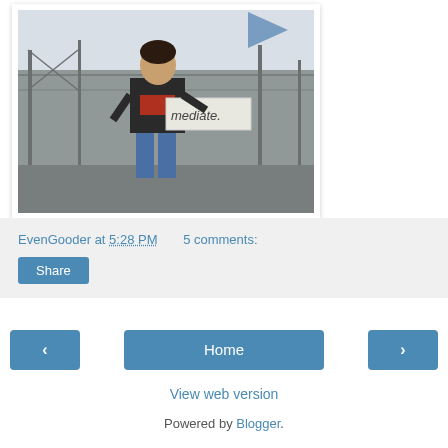[Figure (photo): Person in jeans and dark jacket holding a sign that reads 'mediate', standing outdoors near industrial structures]
EvenGooder at 5:28 PM    5 comments:
Share
‹
Home
›
View web version
Powered by Blogger.